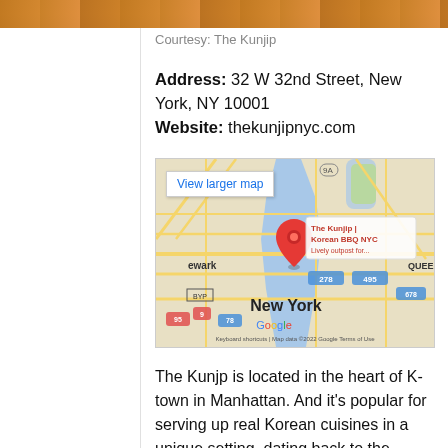[Figure (photo): Cropped photo strip of food, likely Korean BBQ]
Courtesy: The Kunjip
Address: 32 W 32nd Street, New York, NY 10001
Website: thekunjipnyc.com
[Figure (map): Google Maps embed showing location of The Kunjip Korean BBQ NYC in Manhattan, New York. Shows roads, waterways, surrounding areas including Newark and Queens. Red location pin marks the restaurant. Map data ©2022 Google.]
The Kunjp is located in the heart of K-town in Manhattan. And it's popular for serving up real Korean cuisines in a unique setting, dating back to the medieval Korean era.